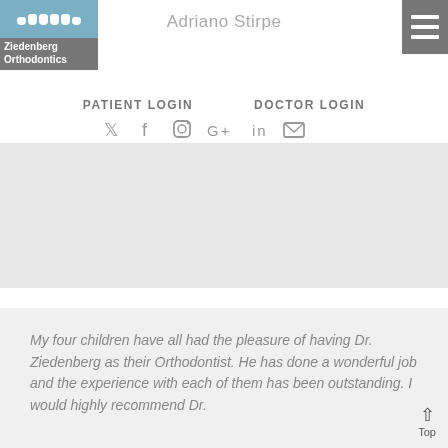[Figure (logo): Ziedenberg Orthodontics logo with blue top section showing teeth icons and gray bottom with text]
Adriano Stirpe
[Figure (other): Hamburger menu icon (three horizontal white lines on gray background)]
PATIENT LOGIN    DOCTOR LOGIN
[Figure (other): Social media icons: Twitter, Facebook, Instagram, Google+, LinkedIn, Email]
[Figure (photo): Gray placeholder image area]
My four children have all had the pleasure of having Dr. Ziedenberg as their Orthodontist. He has done a wonderful job and the experience with each of them has been outstanding. I would highly recommend Dr.